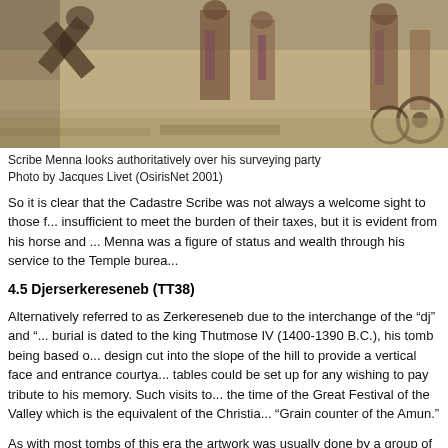[Figure (photo): Ancient Egyptian tomb wall painting showing Scribe Menna looking over his surveying party, with figures depicted in traditional Egyptian art style, muted earth tones]
Scribe Menna looks authoritatively over his surveying party
Photo by Jacques Livet (OsirisNet 2001)
So it is clear that the Cadastre Scribe was not always a welcome sight to those f... insufficient to meet the burden of their taxes, but it is evident from his horse and ... Menna was a figure of status and wealth through his service to the Temple burea...
4.5 Djerserkereseneb (TT38)
Alternatively referred to as Zerkereseneb due to the interchange of the “dj” and “... burial is dated to the king Thutmose IV (1400-1390 B.C.), his tomb being based o... design cut into the slope of the hill to provide a vertical face and entrance courtya... tables could be set up for any wishing to pay tribute to his memory. Such visits to... the time of the Great Festival of the Valley which is the equivalent of the Christia... “Grain counter of the Amun.”
As with most tombs of this era the artwork was usually done by a group of artists... the style of the established format. Unfortunately, as was the case with Menna’s